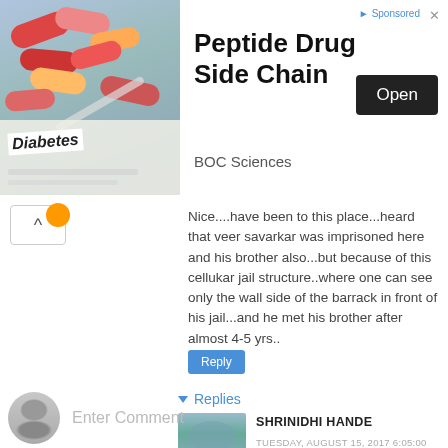[Figure (illustration): Advertisement banner for Peptide Drug Side Chain by BOC Sciences, showing pills and diabetes imagery on the left, with an Open button on the right]
Nice....have been to this place...heard that veer savarkar was imprisoned here and his brother also...but because of this cellukar jail structure..where one can see only the wall side of the barrack in front of his jail...and he met his brother after almost 4-5 yrs..
Reply
Replies
SHRINIDHI HANDE
TUESDAY, AUGUST 15, 2017 6:05:00 AM
Yes... very touchy place
Reply
Enter Comment